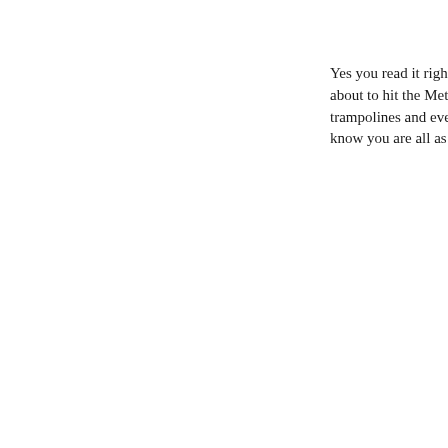Yes you read it righ about to hit the Met trampolines and eve know you are all as